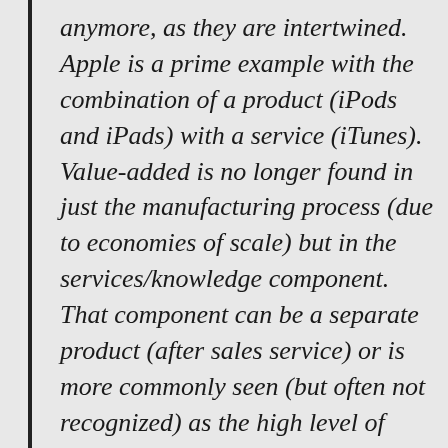anymore, as they are intertwined. Apple is a prime example with the combination of a product (iPods and iPads) with a service (iTunes). Value-added is no longer found in just the manufacturing process (due to economies of scale) but in the services/knowledge component. That component can be a separate product (after sales service) or is more commonly seen (but often not recognized) as the high level of knowledge embedded in the products. The change of the innovation